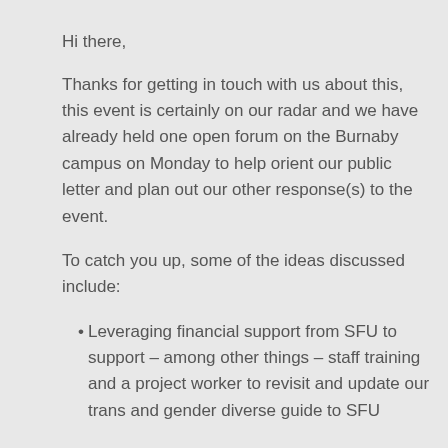Hi there,
Thanks for getting in touch with us about this, this event is certainly on our radar and we have already held one open forum on the Burnaby campus on Monday to help orient our public letter and plan out our other response(s) to the event.
To catch you up, some of the ideas discussed include:
Leveraging financial support from SFU to support – among other things – staff training and a project worker to revisit and update our trans and gender diverse guide to SFU